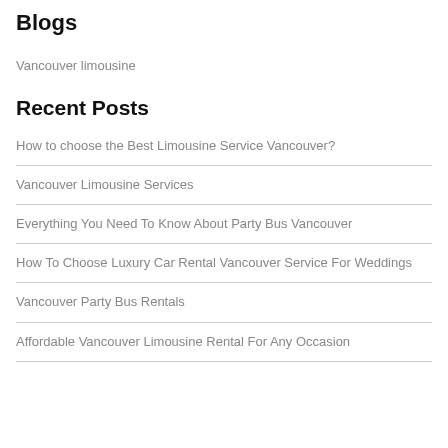Blogs
Vancouver limousine
Recent Posts
How to choose the Best Limousine Service Vancouver?
Vancouver Limousine Services
Everything You Need To Know About Party Bus Vancouver
How To Choose Luxury Car Rental Vancouver Service For Weddings
Vancouver Party Bus Rentals
Affordable Vancouver Limousine Rental For Any Occasion